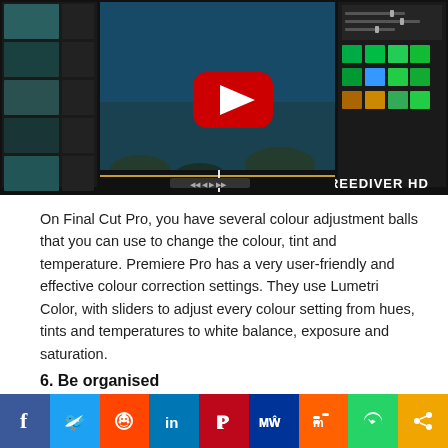[Figure (screenshot): Screenshot of a video editing software (Premiere Pro / Final Cut Pro) showing underwater footage being edited, with a YouTube play button overlay. Text 'FREEDIVER HD' visible at bottom right of the video preview.]
On Final Cut Pro, you have several colour adjustment balls that you can use to change the colour, tint and temperature. Premiere Pro has a very user-friendly and effective colour correction settings. They use Lumetri Color, with sliders to adjust every colour setting from hues, tints and temperatures to white balance, exposure and saturation.
6. Be organised
[Figure (infographic): Social media sharing bar with icons for Facebook, Twitter, Reddit, LinkedIn, Pinterest, MeWe, Mix, WhatsApp, and a share icon.]